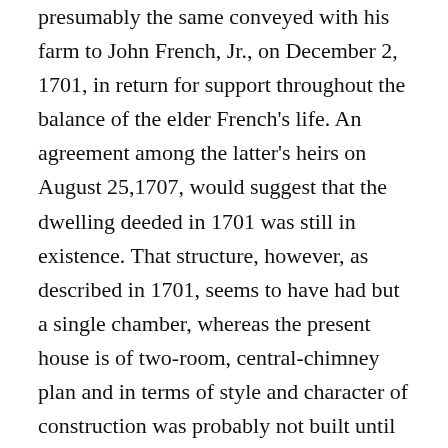presumably the same conveyed with his farm to John French, Jr., on December 2, 1701, in return for support throughout the balance of the elder French's life. An agreement among the latter's heirs on August 25,1707, would suggest that the dwelling deeded in 1701 was still in existence. That structure, however, as described in 1701, seems to have had but a single chamber, whereas the present house is of two-room, central-chimney plan and in terms of style and character of construction was probably not built until Joseph Andrews of Boxford bought the property from John French, Jr., on June 16, 1718. The house was purchased on October 11, 1917, by Thomas Emerson Proctor and restored in 1919 under the direction of George Francis Dow, at which